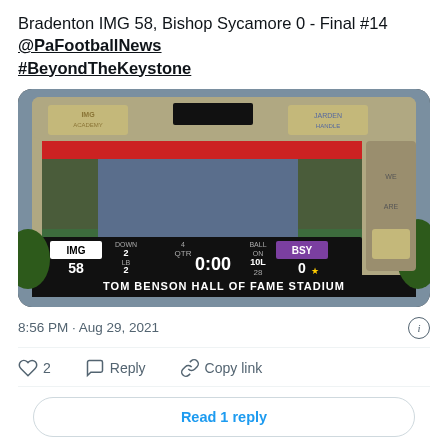Bradenton IMG 58, Bishop Sycamore 0 - Final #14 @PaFootballNews #BeyondTheKeystone
[Figure (photo): Scoreboard at Tom Benson Hall of Fame Stadium showing IMG 58, BSY 0, 0:00 on clock, QTR 4]
8:56 PM · Aug 29, 2021
♡ 2   Reply   Copy link
Read 1 reply